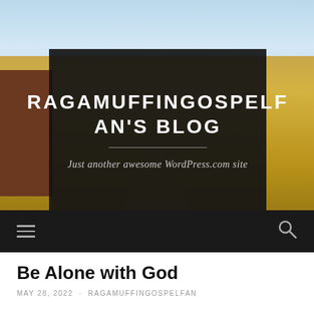[Figure (photo): Blog header with dark overlay on a background photo of a rural farm scene with golden fields, a red barn on the left, trees on the right, and a blue sky. The dark overlay contains the blog title and tagline.]
RAGAMUFFINGOSPELFAN'S BLOG
Just another awesome WordPress.com site
Navigation bar with hamburger menu and search icon
Be Alone with God
MAY 28, 2022 · RAGAMUFFINGOSPELFAN